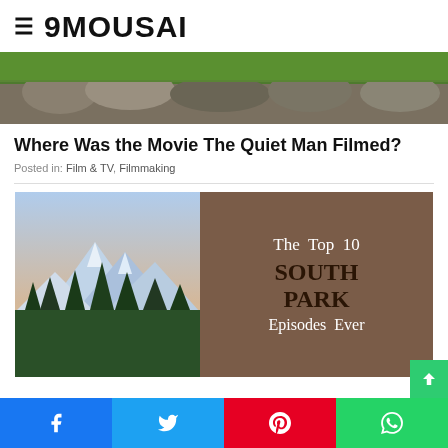9MOUSAI
[Figure (photo): Hero image showing green grass and stone wall]
Where Was the Movie The Quiet Man Filmed?
Posted in: Film & TV, Filmmaking
[Figure (illustration): Split image: left side shows mountain landscape with trees; right side is brown/tan background with text 'The Top 10 SOUTH PARK Episodes Ever']